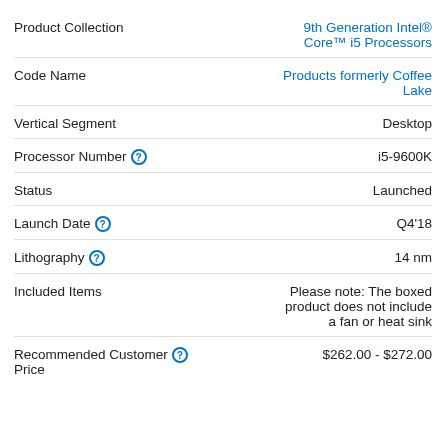| Property | Value |
| --- | --- |
| Product Collection | 9th Generation Intel® Core™ i5 Processors |
| Code Name | Products formerly Coffee Lake |
| Vertical Segment | Desktop |
| Processor Number | i5-9600K |
| Status | Launched |
| Launch Date | Q4'18 |
| Lithography | 14 nm |
| Included Items | Please note: The boxed product does not include a fan or heat sink |
| Recommended Customer Price | $262.00 - $272.00 |